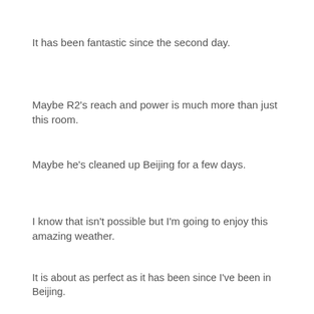It has been fantastic since the second day.
Maybe R2's reach and power is much more than just this room.
Maybe he's cleaned up Beijing for a few days.
I know that isn't possible but I'm going to enjoy this amazing weather.
It is about as perfect as it has been since I've been in Beijing.
And, for that, R2D2 deserves a bit of praise and rest.
Well done, R2.  Well done.
Since he hasn't been used in the past day, I don't have any pictures of his filter.
I'll try and get some pictures of the gorgeous sky and post them as soon as possible.